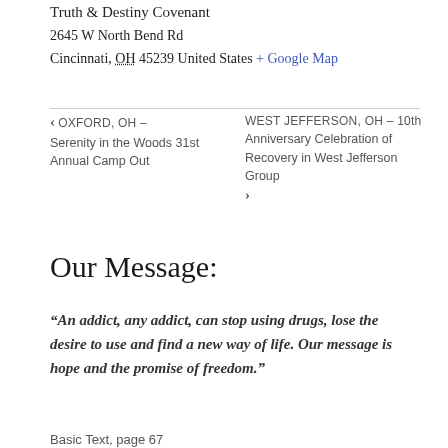Truth & Destiny Covenant
2645 W North Bend Rd
Cincinnati, OH 45239 United States + Google Map
‹ OXFORD, OH – Serenity in the Woods 31st Annual Camp Out
WEST JEFFERSON, OH – 10th Anniversary Celebration of Recovery in West Jefferson Group ›
Our Message:
“An addict, any addict, can stop using drugs, lose the desire to use and find a new way of life. Our message is hope and the promise of freedom.”
Basic Text, page 67